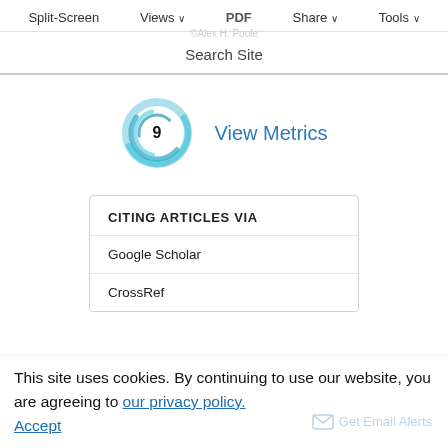Split-Screen   Views ∨   PDF   Share ∨   Tools ∨
©Alex H. Poole
Search Site
[Figure (infographic): Altmetric score badge showing the number 9 inside a circular swirl logo in blue/teal tones, next to 'View Metrics' link]
CITING ARTICLES VIA
Google Scholar
CrossRef
This site uses cookies. By continuing to use our website, you are agreeing to our privacy policy. Accept
Get Email Alerts